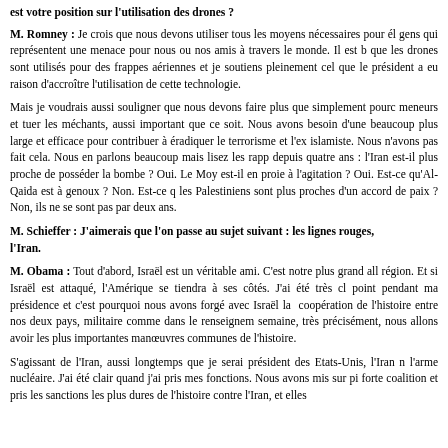est votre position sur l'utilisation des drones ?
M. Romney : Je crois que nous devons utiliser tous les moyens nécessaires pour éli... gens qui représentent une menace pour nous ou nos amis à travers le monde. Il est b... que les drones sont utilisés pour des frappes aériennes et je soutiens pleinement cela... que le président a eu raison d'accroître l'utilisation de cette technologie.
Mais je voudrais aussi souligner que nous devons faire plus que simplement pourc... meneurs et tuer les méchants, aussi important que ce soit. Nous avons besoin d'une... beaucoup plus large et efficace pour contribuer à éradiquer le terrorisme et l'ex... islamiste. Nous n'avons pas fait cela. Nous en parlons beaucoup mais lisez les rapp... depuis quatre ans : l'Iran est-il plus proche de posséder la bombe ? Oui. Le Moy... est-il en proie à l'agitation ? Oui. Est-ce qu'Al-Qaida est à genoux ? Non. Est-ce q... les Palestiniens sont plus proches d'un accord de paix ? Non, ils ne se sont pas par... deux ans.
M. Schieffer : J'aimerais que l'on passe au sujet suivant : les lignes rouges, l'Iran.
M. Obama : Tout d'abord, Israël est un véritable ami. C'est notre plus grand all... région. Et si Israël est attaqué, l'Amérique se tiendra à ses côtés. J'ai été très cl... point pendant ma présidence et c'est pourquoi nous avons forgé avec Israël la ... coopération de l'histoire entre nos deux pays, militaire comme dans le renseignem... semaine, très précisément, nous allons avoir les plus importantes manœuvres... communes de l'histoire.
S'agissant de l'Iran, aussi longtemps que je serai président des Etats-Unis, l'Iran n... l'arme nucléaire. J'ai été clair quand j'ai pris mes fonctions. Nous avons mis sur pi... forte coalition et pris les sanctions les plus dures de l'histoire contre l'Iran, et elles...